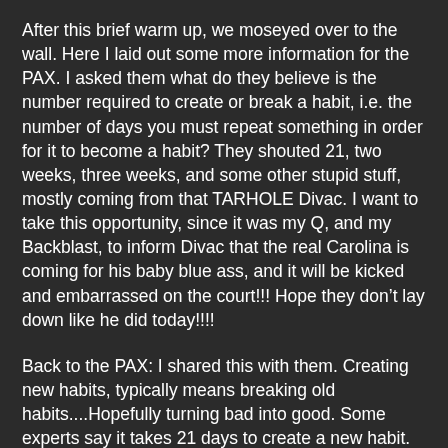After this brief warm up, we moseyed over to the wall. Here I laid out some more information for the PAX.  I asked them what do they believe is the number required to create or break a habit, i.e. the number of days you must repeat something in order for it to become a habit? They shouted 21, two weeks, three weeks, and some other stupid stuff, mostly coming from that TARHOLE Divac.  I want to take this opportunity, since it was my Q, and my Backblast, to inform Divac that the real Carolina is coming for his baby blue ass, and it will be kicked and embarrassed on the court!!! Hope they don’t lay down like he did today!!!!
Back to the PAX:  I shared this with them.  Creating new habits, typically means breaking old habits....Hopefully turning bad into good.  Some experts say it takes 21 days to create a new habit. This was/is a popular thought that came around in 1960 with a book by Maxwell Maltz,